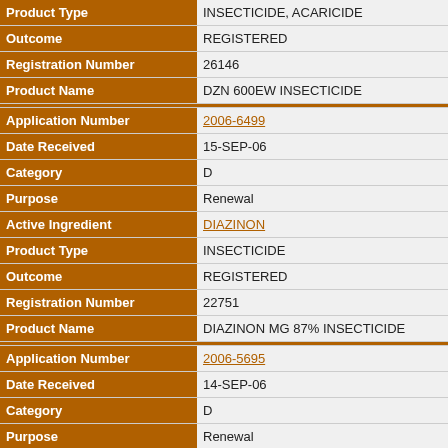| Field | Value |
| --- | --- |
| Product Type | INSECTICIDE, ACARICIDE |
| Outcome | REGISTERED |
| Registration Number | 26146 |
| Product Name | DZN 600EW INSECTICIDE |
| Application Number | 2006-6499 |
| Date Received | 15-SEP-06 |
| Category | D |
| Purpose | Renewal |
| Active Ingredient | DIAZINON |
| Product Type | INSECTICIDE |
| Outcome | REGISTERED |
| Registration Number | 22751 |
| Product Name | DIAZINON MG 87% INSECTICIDE |
| Application Number | 2006-5695 |
| Date Received | 14-SEP-06 |
| Category | D |
| Purpose | Renewal |
| Active Ingredient | DIAZINON |
| Product Type | INSECTICIDE |
| Outcome | REGISTERED |
| Registration Number | 25334 |
| Product Name | OPTIMIZER INSECTICIDE CATTLE EAR TAG |